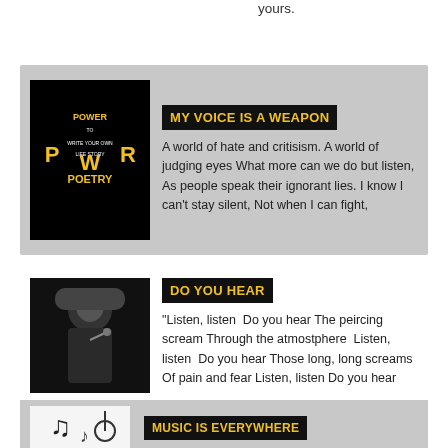yours.
[Figure (illustration): Black background image with 'POWER TO WRITE YOUR OWN LIFE STORY POETRY' text in yellow and white stylized letters]
MY VOICE IS A WEAPON
A world of hate and critisism. A world of judging eyes What more can we do but listen, As people speak their ignorant lies. I know I can't stay silent, Not when I can fight,
[Figure (photo): Black and white photo of a person wearing a beanie hat with finger to lips in a shush gesture]
DO YOU HEAR
"Listen, listen  Do you hear The peircing scream Through the atmostphere  Listen, listen  Do you hear Those long, long screams Of pain and fear Listen, listen Do you hear
[Figure (illustration): White background illustration with musical notes and symbols]
MUSIC IS EVERYWHERE